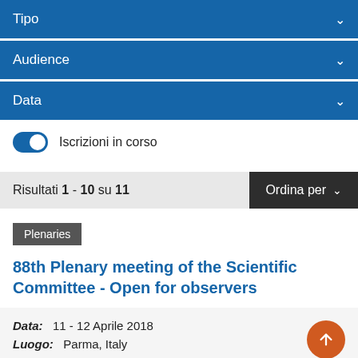Tipo
Audience
Data
Iscrizioni in corso
Risultati 1 - 10 su 11
Ordina per
Plenaries
88th Plenary meeting of the Scientific Committee - Open for observers
Data: 11 - 12 Aprile 2018
Luogo: Parma, Italy